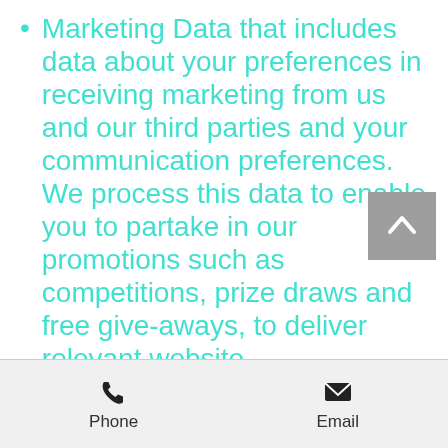Marketing Data that includes data about your preferences in receiving marketing from us and our third parties and your communication preferences. We process this data to enable you to partake in our promotions such as competitions, prize draws and free give-aways, to deliver relevant website...
Phone | Email